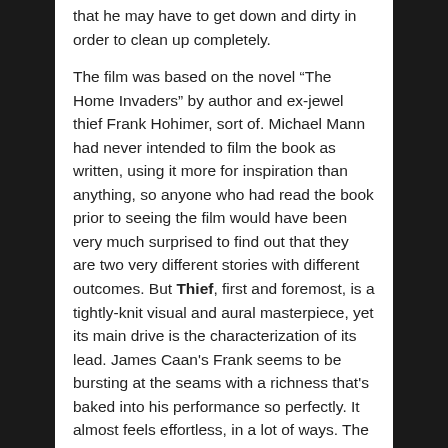that he may have to get down and dirty in order to clean up completely.
The film was based on the novel “The Home Invaders” by author and ex-jewel thief Frank Hohimer, sort of. Michael Mann had never intended to film the book as written, using it more for inspiration than anything, so anyone who had read the book prior to seeing the film would have been very much surprised to find out that they are two very different stories with different outcomes. But Thief, first and foremost, is a tightly-knit visual and aural masterpiece, yet its main drive is the characterization of its lead. James Caan's Frank seems to be bursting at the seams with a richness that's baked into his performance so perfectly. It almost feels effortless, in a lot of ways. The other characters are vital and the actors give great performances as well, but it's Caan who really shines the most in the film. There are also some early performances from Dennis Farina and James Belushi to be found, as well as a very, very small part featuring William Peterson as a bartender. Mann also hired real-life criminals as actors, but to also be technical advisors during the robbery sequences, making them as authentic as